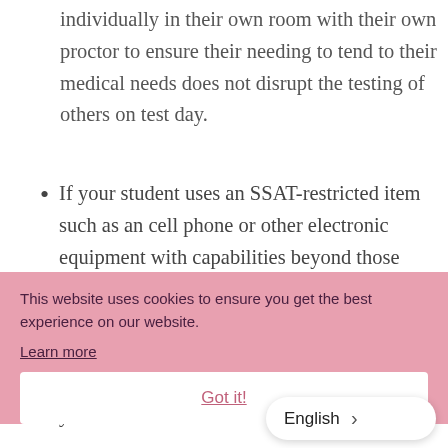individually in their own room with their own proctor to ensure their needing to tend to their medical needs does not disrupt the testing of others on test day.
If your student uses an SSAT-restricted item such as an cell phone or other electronic equipment with capabilities beyond those needed for medical purposes (e.g., iPhone with internet access), this specific equipment must be approved by EMA in advance of test day. Please contact us immediately to have your d...
This website uses cookies to ensure you get the best experience on our website. Learn more
Got it!
English >